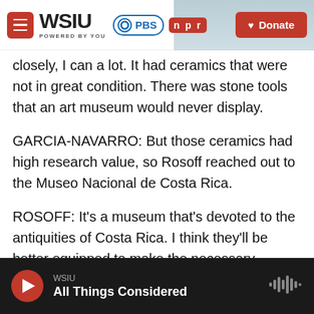[Figure (screenshot): WSIU website header bar with hamburger menu, WSIU logo with 'POWERED BY YOU' text, PBS logo badge, NPR badge, and red Donate button. Background shows a nature/landscape image on the right side.]
closely, I can a lot. It had ceramics that were not in great condition. There was stone tools that an art museum would never display.
GARCIA-NAVARRO: But those ceramics had high research value, so Rosoff reached out to the Museo Nacional de Costa Rica.
ROSOFF: It's a museum that's devoted to the antiquities of Costa Rica. I think they'll be better equipped to make the necessary repairs to some gorgeous ceramics and stonework that we just were not equipped to do here.
WSIU — All Things Considered